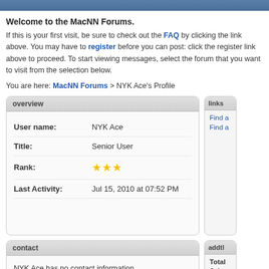Welcome to the MacNN Forums.
If this is your first visit, be sure to check out the FAQ by clicking the link above. You may have to register before you can post: click the register link above to proceed. To start viewing messages, select the forum that you want to visit from the selection below.
You are here: MacNN Forums > NYK Ace's Profile
overview
| Field | Value |
| --- | --- |
| User name: | NYK Ace |
| Title: | Senior User |
| Rank: | ★★★ |
| Last Activity: | Jul 15, 2010 at 07:52 PM |
links
Find a
Find a
contact
NYK Ace has no contact information.
addtl
Total
Join